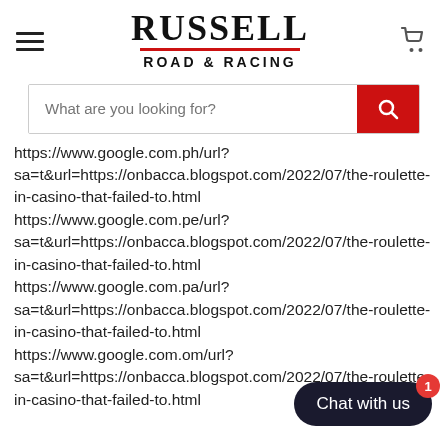RUSSELL ROAD & RACING
https://www.google.com.ph/url?sa=t&url=https://onbacca.blogspot.com/2022/07/the-roulette-in-casino-that-failed-to.html https://www.google.com.pe/url?sa=t&url=https://onbacca.blogspot.com/2022/07/the-roulette-in-casino-that-failed-to.html https://www.google.com.pa/url?sa=t&url=https://onbacca.blogspot.com/2022/07/the-roulette-in-casino-that-failed-to.html https://www.google.com.om/url?sa=t&url=https://onbacca.blogspot.com/2022/07/the-roulette-in-casino-that-failed-to.html